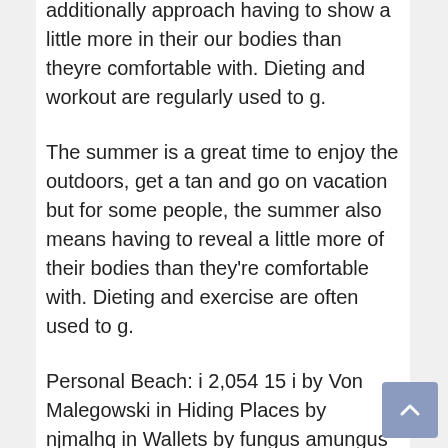additionally approach having to show a little more in their our bodies than theyre comfortable with. Dieting and workout are regularly used to g.
The summer is a great time to enjoy the outdoors, get a tan and go on vacation but for some people, the summer also means having to reveal a little more of their bodies than they're comfortable with. Dieting and exercise are often used to g.
Personal Beach: i 2,054 15 i by Von Malegowski in Hiding Places by njmalhq in Wallets by fungus amungus in Shelves by emilyvanleemput in Toys & Games by amjohnny in Organizing by AlexYourFace in Beauty by ishiyasu in Sewing by